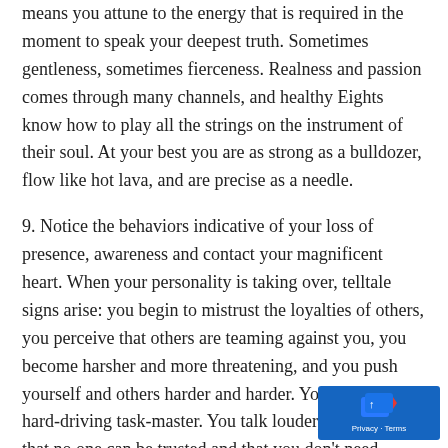means you attune to the energy that is required in the moment to speak your deepest truth. Sometimes gentleness, sometimes fierceness. Realness and passion comes through many channels, and healthy Eights know how to play all the strings on the instrument of their soul. At your best you are as strong as a bulldozer, flow like hot lava, and are precise as a needle.
9. Notice the behaviors indicative of your loss of presence, awareness and contact your magnificent heart. When your personality is taking over, telltale signs arise: you begin to mistrust the loyalties of others, you perceive that others are teaming against you, you become harsher and more threatening, and you push yourself and others harder and harder. You become a hard-driving task-master. You talk louder, you believe that no one can be trusted and that you don’t need anyone (people are replaceable, commodities, not worth much), you think you are the most important person in the room (You are no longer right-sized!). You inflate your self-importance and thrive feeling superior. When all this occurs be certain—you are heading down the road of self-destruction and addiction is waiting.